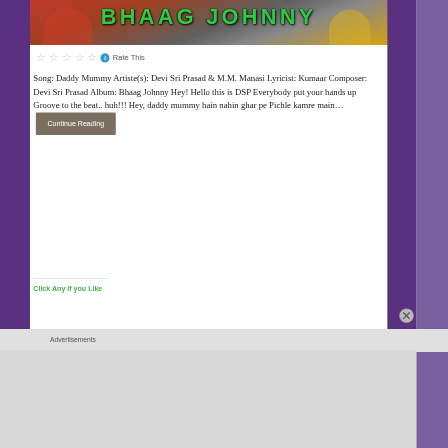[Figure (photo): Movie banner image for Bhaag Johnny film with cast photos and green stylized text title 'BHAAG JOHNNY' overlaid]
Rate This (5 star rating widget with info icon)
Song: Daddy Mummy Artiste(s): Devi Sri Prasad & M.M. Manasi Lyricist: Kumaar Composer: Devi Sri Prasad Album: Bhaag Johnny Hey! Hello this is DSP Everybody put your hands up Groove to the beat.. huh!!! Hey, daddy mummy hain nahin ghar pe Pichle kamre main… Continue Reading
Click Any If you Like
Advertisements